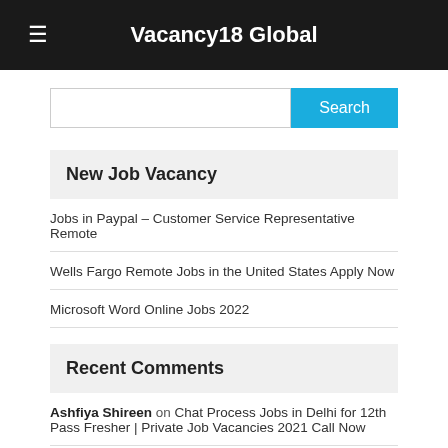Vacancy18 Global
Search
New Job Vacancy
Jobs in Paypal – Customer Service Representative Remote
Wells Fargo Remote Jobs in the United States Apply Now
Microsoft Word Online Jobs 2022
Recent Comments
Ashfiya Shireen on Chat Process Jobs in Delhi for 12th Pass Fresher | Private Job Vacancies 2021 Call Now
chandan kumar on Amazon Jobs for 12th pass Fresher | Latest Private Jobs Vacancy in Delhi 2021 Apply Now